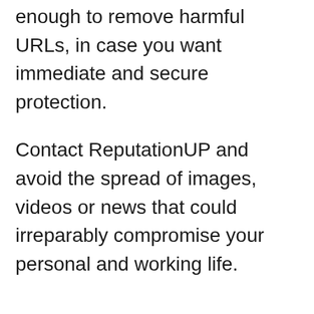enough to remove harmful URLs, in case you want immediate and secure protection.
Contact ReputationUP and avoid the spread of images, videos or news that could irreparably compromise your personal and working life.